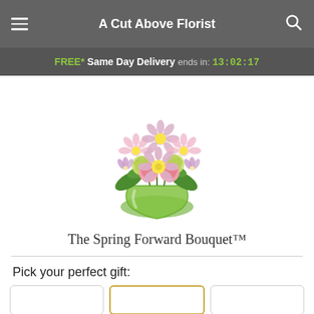A Cut Above Florist
FREE* Same Day Delivery ends in: 13:02:17
[Figure (photo): A floral arrangement called The Spring Forward Bouquet in a round green glass vase, featuring pink daisies, pink carnations, light green carnations, and purple alstroemeria with green foliage.]
The Spring Forward Bouquet™
Pick your perfect gift: